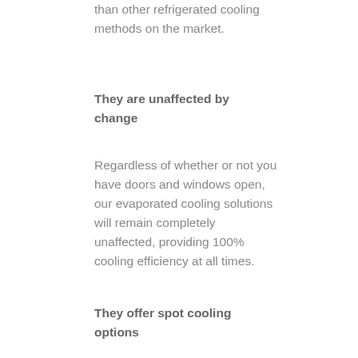than other refrigerated cooling methods on the market.
They are unaffected by change
Regardless of whether or not you have doors and windows open, our evaporated cooling solutions will remain completely unaffected, providing 100% cooling efficiency at all times.
They offer spot cooling options